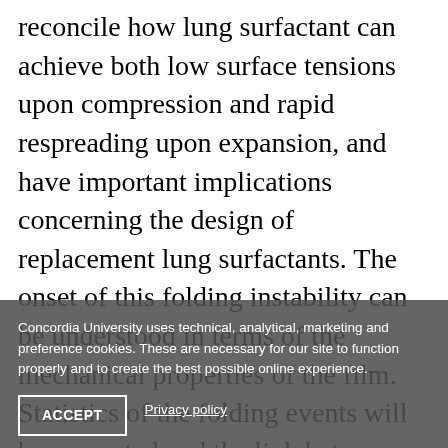reconcile how lung surfactant can achieve both low surface tensions upon compression and rapid respreading upon expansion, and have important implications concerning the design of replacement lung surfactants. The onset of this folding instability can be understood in terms of the mechanical properties of the film. Statistics of the folding events will be presented and the link between folding on monolayers of nm thickness and that on polyester films that are 3 orders of magnitude thicker will be discussed. By studying different types of monolayers, we have shown that this folding transition in
Concordia University uses technical, analytical, marketing and preference cookies. These are necessary for our site to function properly and to create the best possible online experience.